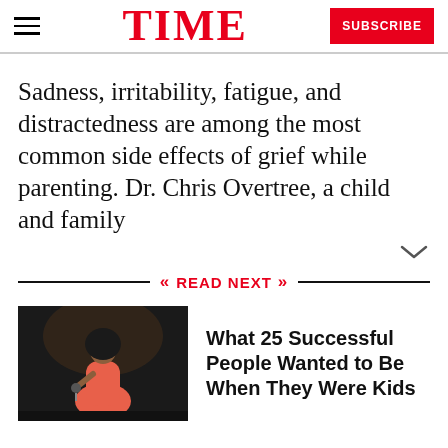TIME | SUBSCRIBE
Sadness, irritability, fatigue, and distractedness are among the most common side effects of grief while parenting. Dr. Chris Overtree, a child and family
READ NEXT
[Figure (photo): A performer in a red/pink outfit on stage holding a microphone]
What 25 Successful People Wanted to Be When They Were Kids